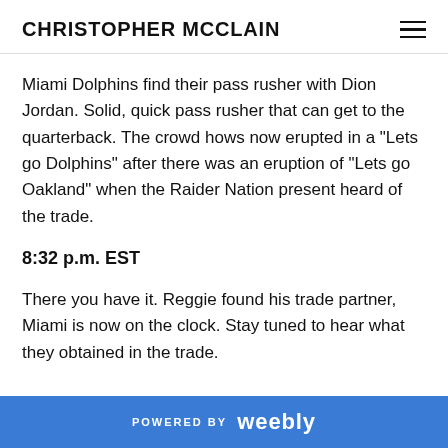CHRISTOPHER MCCLAIN
Miami Dolphins find their pass rusher with Dion Jordan. Solid, quick pass rusher that can get to the quarterback. The crowd hows now erupted in a "Lets go Dolphins" after there was an eruption of "Lets go Oakland" when the Raider Nation present heard of the trade.
8:32 p.m. EST
There you have it. Reggie found his trade partner, Miami is now on the clock. Stay tuned to hear what they obtained in the trade.
POWERED BY weebly